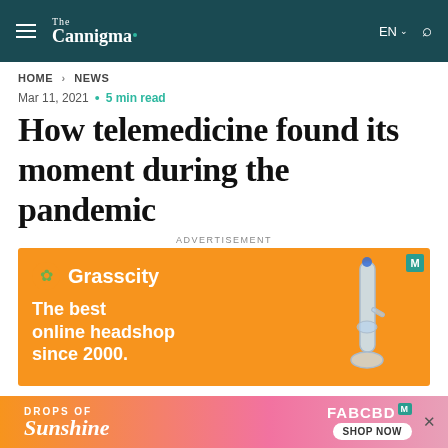The Cannigma | EN | Search
HOME > NEWS
Mar 11, 2021 • 5 min read
How telemedicine found its moment during the pandemic
ADVERTISEMENT
[Figure (other): Grasscity advertisement banner - orange background with bong image. Text: Grasscity - The best online headshop since 2000.]
ADVERTISEMENT
[Figure (other): FabCBD advertisement banner - pink/orange gradient background. Drops of Sunshine - FABCBD SHOP NOW]